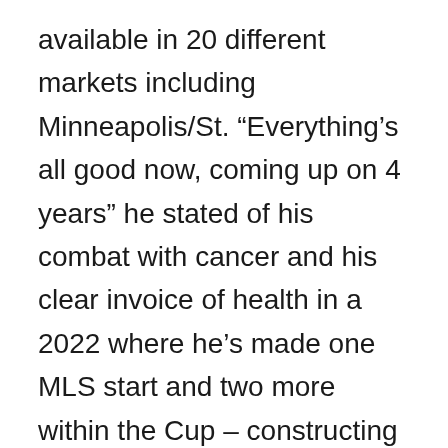available in 20 different markets including Minneapolis/St. “Everything’s all good now, coming up on 4 years” he stated of his combat with cancer and his clear invoice of health in a 2022 where he’s made one MLS start and two more within the Cup – constructing on from six starts final season. Polo’s contract was renewed in December even after a sheriff’s division call to Polo’s dwelling last Could. However a pure disaster may be wake-up name. Name forward to set